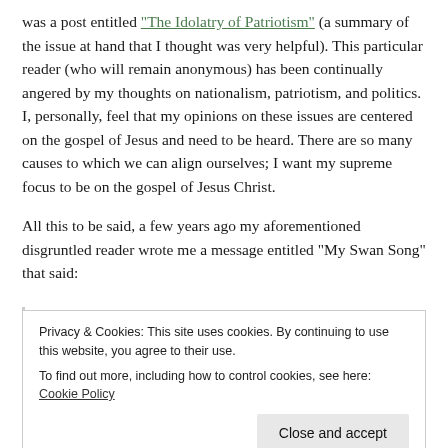was a post entitled "The Idolatry of Patriotism" (a summary of the issue at hand that I thought was very helpful).  This particular reader (who will remain anonymous) has been continually angered by my thoughts on nationalism, patriotism, and politics.  I, personally, feel that my opinions on these issues are centered on the gospel of Jesus and need to be heard.  There are so many causes to which we can align ourselves; I want my supreme focus to be on the gospel of Jesus Christ.
All this to be said, a few years ago my aforementioned disgruntled reader wrote me a message entitled “My Swan Song” that said:
Privacy & Cookies: This site uses cookies. By continuing to use this website, you agree to their use.
To find out more, including how to control cookies, see here: Cookie Policy
Close and accept
which have connected them with another… a decent